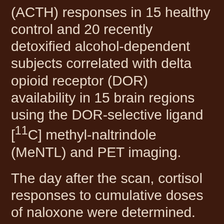(ACTH) responses in 15 healthy control and 20 recently detoxified alcohol-dependent subjects correlated with delta opioid receptor (DOR) availability in 15 brain regions using the DOR-selective ligand [11C] methyl-naltrindole (MeNTL) and PET imaging.
The day after the scan, cortisol responses to cumulative doses of naloxone were determined.
Peak cortisol and ACTH levels and area under the cortisol and ACTH curve did not differ by group. There were negative relationships between cortisol area under curve to naloxone and [11C] MeNTL-binding potential (BPND) in the ventral striatum, anterior cingulate...